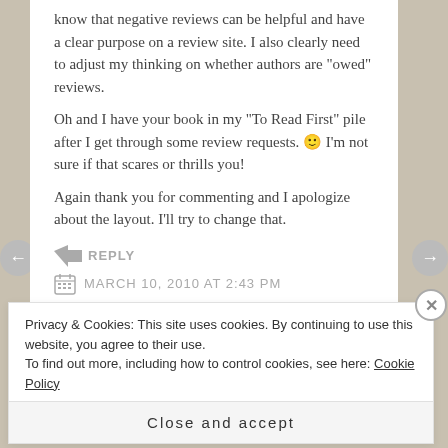know that negative reviews can be helpful and have a clear purpose on a review site. I also clearly need to adjust my thinking on whether authors are "owed" reviews.
Oh and I have your book in my "To Read First" pile after I get through some review requests. 🙂 I'm not sure if that scares or thrills you!
Again thank you for commenting and I apologize about the layout. I'll try to change that.
↳ REPLY
MARCH 10, 2010 AT 2:43 PM
Privacy & Cookies: This site uses cookies. By continuing to use this website, you agree to their use.
To find out more, including how to control cookies, see here: Cookie Policy
Close and accept